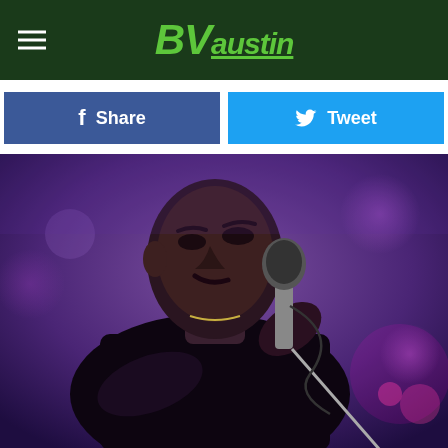BV Austin
[Figure (photo): Male performer singing into a microphone on stage, wearing a black long-sleeve shirt, with purple stage lighting in the background]
Share
Tweet